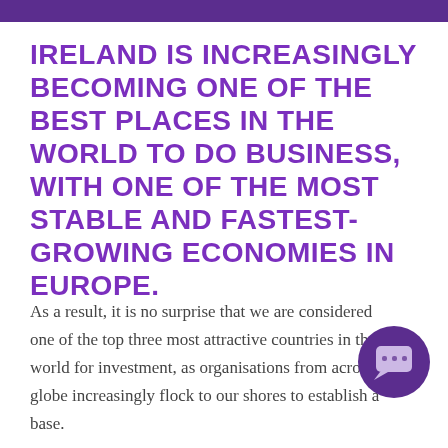IRELAND IS INCREASINGLY BECOMING ONE OF THE BEST PLACES IN THE WORLD TO DO BUSINESS, WITH ONE OF THE MOST STABLE AND FASTEST-GROWING ECONOMIES IN EUROPE.
As a result, it is no surprise that we are considered one of the top three most attractive countries in the world for investment, as organisations from across the globe increasingly flock to our shores to establish a base.